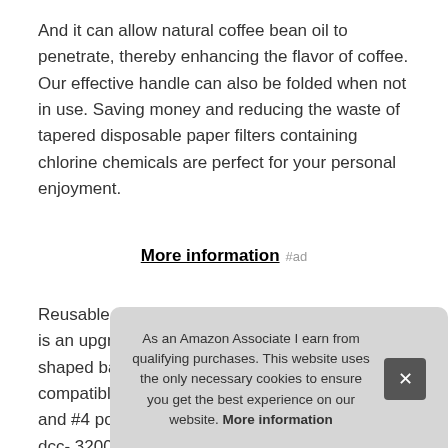And it can allow natural coffee bean oil to penetrate, thereby enhancing the flavor of coffee. Our effective handle can also be folded when not in use. Saving money and reducing the waste of tapered disposable paper filters containing chlorine chemicals are perfect for your personal enjoyment.
More information #ad
Reusable and durable: this coffee filters 8-12 cup is an upgraded stainless steel reusable cone-shaped basket filter, but also durable. Universally compatible: all 6-12 cup cone coffee machines and #4 pouring coffee drippers for cuisinart of dcc- 3200, mr. Unlike other plastics, which is not only hea of s has
Eas
As an Amazon Associate I earn from qualifying purchases. This website uses the only necessary cookies to ensure you get the best experience on our website. More information